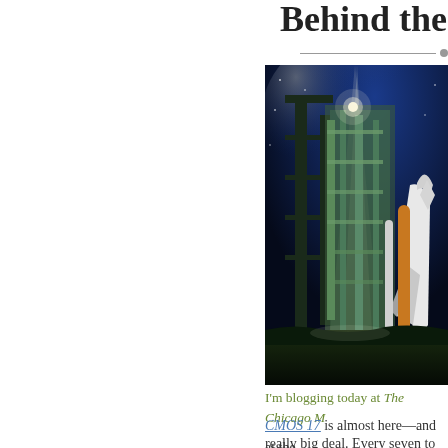Behind the Sc...
[Figure (photo): Nighttime photo of a space shuttle on a launch pad, illuminated by bright floodlights against a dark blue sky. The launch structure and gantry are visible with the shuttle to the right.]
I'm blogging today at The Chicago M...
CMOS 17 is almost here—and at the
really big deal. Every seven to ten ye
overhaul of The Chicago Manual of S
the new edition appears.